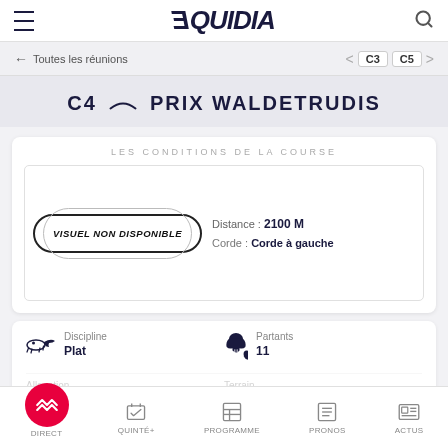[Figure (screenshot): Equidia app top navigation bar with hamburger menu, Equidia logo, and search icon]
← Toutes les réunions
< C3  C5 >
C4 PRIX WALDETRUDIS
LES CONDITIONS DE LA COURSE
[Figure (illustration): VISUEL NON DISPONIBLE badge/oval stamp]
Distance : 2100 M
Corde : Corde à gauche
Discipline
Plat
Partants
11
DIRECT  QUINTÉ+  PROGRAMME  PRONOS  ACTUS